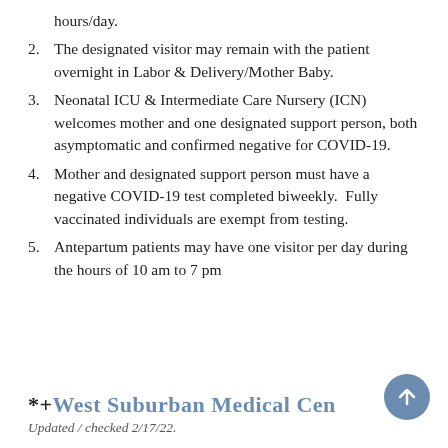hours/day.
2. The designated visitor may remain with the patient overnight in Labor & Delivery/Mother Baby.
3. Neonatal ICU & Intermediate Care Nursery (ICN) welcomes mother and one designated support person, both asymptomatic and confirmed negative for COVID-19.
4. Mother and designated support person must have a negative COVID-19 test completed biweekly.  Fully vaccinated individuals are exempt from testing.
5. Antepartum patients may have one visitor per day during the hours of 10 am to 7 pm
*+West Suburban Medical Center
Updated / checked 2/17/22.